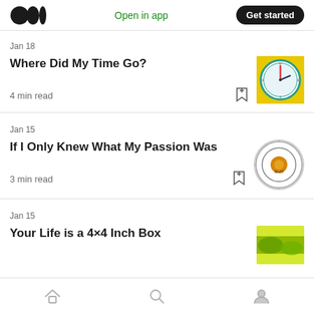Open in app | Get started
Jan 18
Where Did My Time Go?
4 min read
Jan 15
If I Only Knew What My Passion Was
3 min read
Jan 15
Your Life is a 4×4 Inch Box
Home | Search | Profile